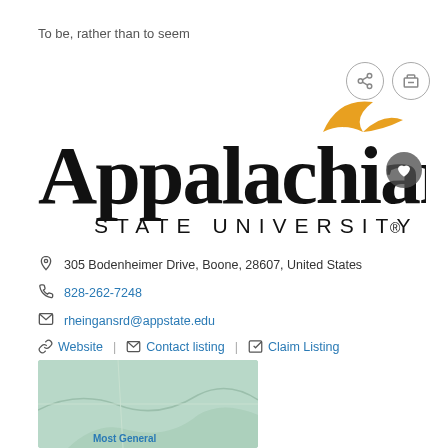To be, rather than to seem
[Figure (logo): Appalachian State University logo with a gold bird and serif text]
305 Bodenheimer Drive, Boone, 28607, United States
828-262-7248
rheingansrd@appstate.edu
Website | Contact listing | Claim Listing
Quote
[Figure (map): Partial map showing location, with 'Most General' label visible at bottom]